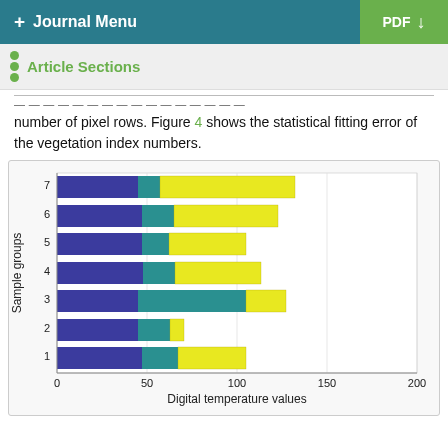+ Journal Menu    PDF ↓
Article Sections
... number of pixel rows. Figure 4 shows the statistical fitting error of the vegetation index numbers.
[Figure (stacked-bar-chart): ]